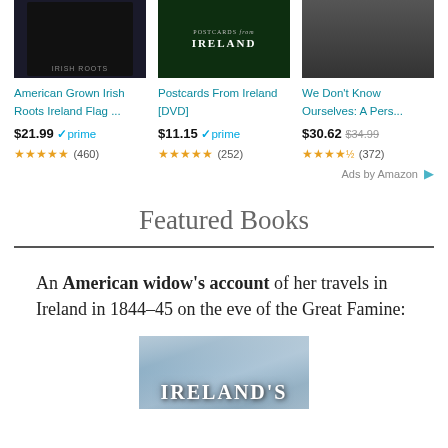[Figure (photo): Product image for American Grown Irish Roots Ireland Flag t-shirt (dark background)]
[Figure (photo): Product image for Postcards From Ireland DVD (dark green background with text)]
[Figure (photo): Product image for We Don't Know Ourselves book (black and white photo)]
American Grown Irish Roots Ireland Flag ...
Postcards From Ireland [DVD]
We Don't Know Ourselves: A Pers...
$21.99 ✓prime (460)
$11.15 ✓prime (252)
$30.62 $34.99 (372)
Ads by Amazon
Featured Books
An American widow's account of her travels in Ireland in 1844–45 on the eve of the Great Famine:
[Figure (photo): Book cover image showing sky background with text IRELAND'S]